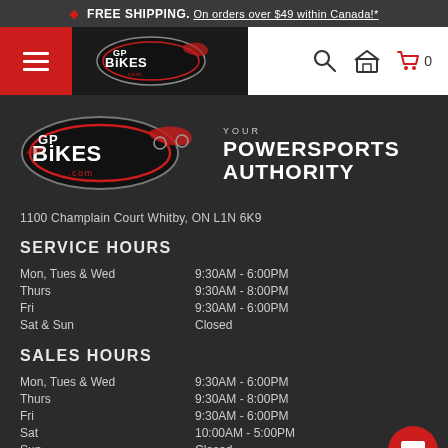🍁 FREE SHIPPING. On orders over $49 within Canada!*
[Figure (screenshot): GP Bikes navigation bar with hamburger menu, GP Bikes logo, search icon, garage icon, and cart with 0 items]
[Figure (logo): GP Bikes logo with tagline YOUR POWERSPORTS AUTHORITY]
1100 Champlain Court Whitby, ON L1N 6K9
SERVICE HOURS
| Mon, Tues & Wed | 9:30AM - 6:00PM |
| Thurs | 9:30AM - 8:00PM |
| Fri | 9:30AM - 6:00PM |
| Sat & Sun | Closed |
SALES HOURS
| Mon, Tues & Wed | 9:30AM - 6:00PM |
| Thurs | 9:30AM - 8:00PM |
| Fri | 9:30AM - 6:00PM |
| Sat | 10:00AM - 5:00PM |
| Sun | Closed |